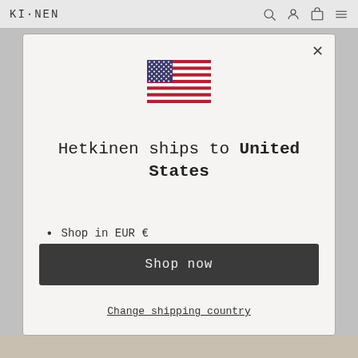KI·NEN
[Figure (illustration): US flag emoji / illustration centered in modal]
Hetkinen ships to United States
Shop in EUR €
Get shipping options for United States
Shop now
Change shipping country